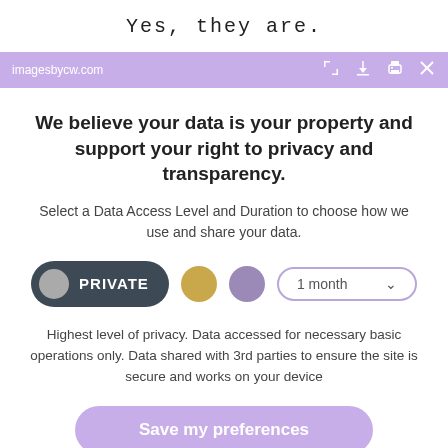Yes, they are.
imagesbycw.com
We believe your data is your property and support your right to privacy and transparency.
Select a Data Access Level and Duration to choose how we use and share your data.
PRIVATE  [gold dot]  [purple dot]  1 month
Highest level of privacy. Data accessed for necessary basic operations only. Data shared with 3rd parties to ensure the site is secure and works on your device
Save my preferences
Customize   Privacy policy